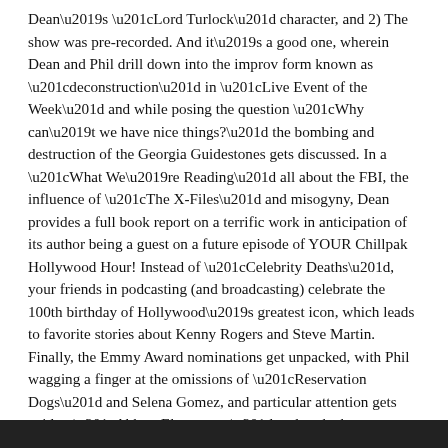Dean's “Lord Turlock” character, and 2) The show was pre-recorded. And it’s a good one, wherein Dean and Phil drill down into the improv form known as “deconstruction” in “Live Event of the Week” and while posing the question “Why can’t we have nice things?” the bombing and destruction of the Georgia Guidestones gets discussed. In a “What We’re Reading” all about the FBI, the influence of “The X-Files” and misogyny, Dean provides a full book report on a terrific work in anticipation of its author being a guest on a future episode of YOUR Chillpak Hollywood Hour! Instead of “Celebrity Deaths”, your friends in podcasting (and broadcasting) celebrate the 100th birthday of Hollywood’s greatest icon, which leads to favorite stories about Kenny Rogers and Steve Martin. Finally, the Emmy Award nominations get unpacked, with Phil wagging a finger at the omissions of “Reservation Dogs” and Selena Gomez, and particular attention gets paid to “Abbott Elementary” and to the horse race for Best Supporting Actor in a Drama Series.